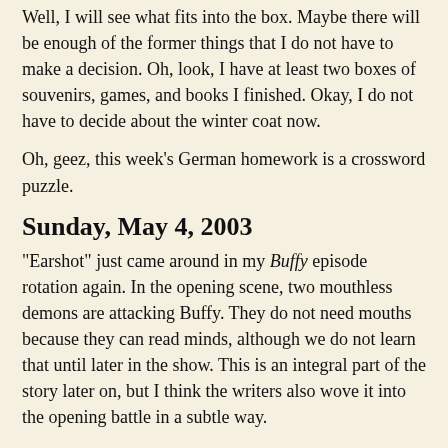Well, I will see what fits into the box. Maybe there will be enough of the former things that I do not have to make a decision. Oh, look, I have at least two boxes of souvenirs, games, and books I finished. Okay, I do not have to decide about the winter coat now.
Oh, geez, this week's German homework is a crossword puzzle.
Sunday, May 4, 2003
"Earshot" just came around in my Buffy episode rotation again. In the opening scene, two mouthless demons are attacking Buffy. They do not need mouths because they can read minds, although we do not learn that until later in the show. This is an integral part of the story later on, but I think the writers also wove it into the opening battle in a subtle way.
There is some staging in the fight that is either a nice bit of writing or is quite fortuitous, because it shows the demons using telepathy in their tactics. At one point, the two demons are lined up one in front of the other, both facing Buffy. So Buffy's view of the demon in back is obscured by the demon in front. The one in back uses this opportunity to throw a knife at Buffy, possibly catching her by surprise. The demon in front ducks just as the knife is thrown. This might have been deliberately choreographed—the demon in front knows when to duck because it can read its partner's mind.